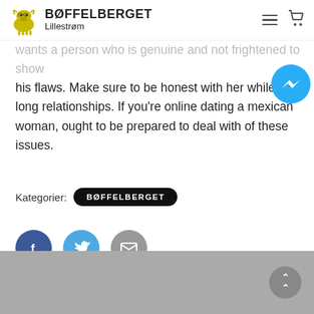[Figure (logo): Bøffelberget Lillestrøm logo with yellow buffalo icon and bold text]
wants a person who is genuine and not frightened to show his flaws. Make sure to be honest with her while long relationships. If you're online dating a mexican woman, ought to be prepared to deal with of these issues.
[Figure (illustration): Facebook Messenger blue chat bubble icon]
Kategorier: BØFFELBERGET
[Figure (illustration): Social share buttons: Facebook, Twitter, Email]
[Figure (illustration): Scroll-to-top button with upward chevrons]